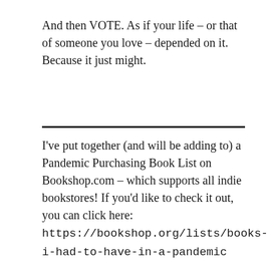And then VOTE. As if your life – or that of someone you love – depended on it. Because it just might.
I've put together (and will be adding to) a Pandemic Purchasing Book List on Bookshop.com – which supports all indie bookstores! If you'd like to check it out, you can click here: https://bookshop.org/lists/books-i-had-to-have-in-a-pandemic